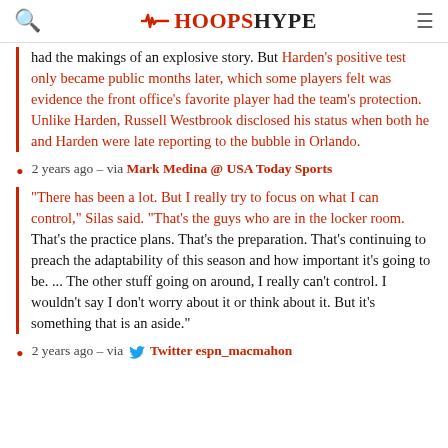HOOPSHYPE
had the makings of an explosive story. But Harden's positive test only became public months later, which some players felt was evidence the front office's favorite player had the team's protection. Unlike Harden, Russell Westbrook disclosed his status when both he and Harden were late reporting to the bubble in Orlando.
2 years ago – via Mark Medina @ USA Today Sports
"There has been a lot. But I really try to focus on what I can control," Silas said. "That's the guys who are in the locker room. That's the practice plans. That's the preparation. That's continuing to preach the adaptability of this season and how important it's going to be. ... The other stuff going on around, I really can't control. I wouldn't say I don't worry about it or think about it. But it's something that is an aside."
2 years ago – via Twitter espn_macmahon